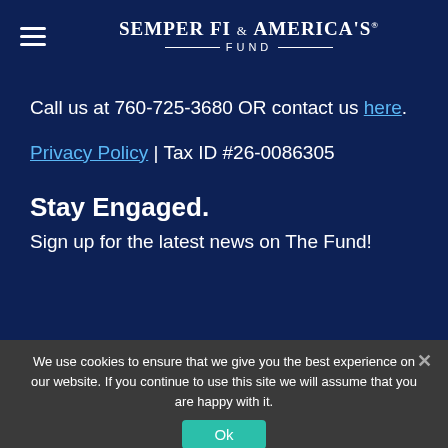Semper Fi & America's Fund
Call us at 760-725-3680 OR contact us here.
Privacy Policy | Tax ID #26-0086305
Stay Engaged.
Sign up for the latest news on The Fund!
We use cookies to ensure that we give you the best experience on our website. If you continue to use this site we will assume that you are happy with it.